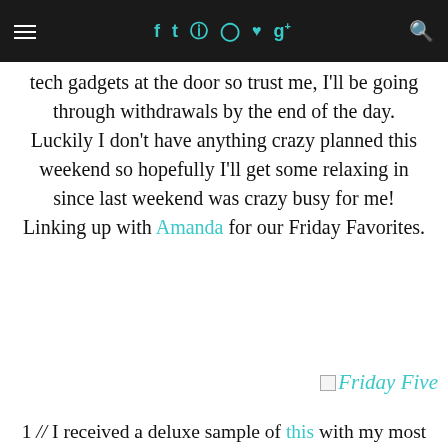≡  f  t  [camera]  [pinterest]  [heart]  g+  [search]
tech gadgets at the door so trust me, I'll be going through withdrawals by the end of the day. Luckily I don't have anything crazy planned this weekend so hopefully I'll get some relaxing in since last weekend was crazy busy for me! Linking up with Amanda for our Friday Favorites.
[Figure (other): Friday Five image/logo with teal italic text]
1 // I received a deluxe sample of this with my most recent Sephora order and I already know the second it runs out I'm buying a full sized bottle. It has 9 times more